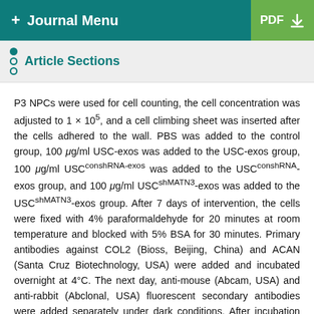+ Journal Menu | PDF
Article Sections
P3 NPCs were used for cell counting, the cell concentration was adjusted to 1 × 10^5, and a cell climbing sheet was inserted after the cells adhered to the wall. PBS was added to the control group, 100 μg/ml USC-exos was added to the USC-exos group, 100 μg/ml USC^conshRNA-exos was added to the USC^conshRNA-exos group, and 100 μg/ml USC^shMATN3-exos was added to the USC^shMATN3-exos group. After 7 days of intervention, the cells were fixed with 4% paraformaldehyde for 20 minutes at room temperature and blocked with 5% BSA for 30 minutes. Primary antibodies against COL2 (Bioss, Beijing, China) and ACAN (Santa Cruz Biotechnology, USA) were added and incubated overnight at 4°C. The next day, anti-mouse (Abcam, USA) and anti-rabbit (Abclonal, USA) fluorescent secondary antibodies were added separately under dark conditions. After incubation for 1 hour at room temperature, DAPI was added. After mounting in glycerol, the cells were observed under a laser confocal microscope (Nikon, Japan) to evaluate the expression